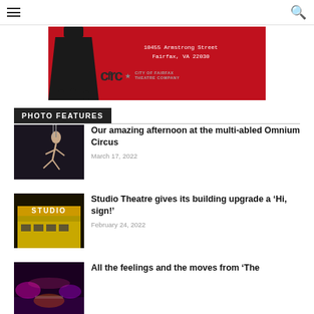Navigation menu and search icon
[Figure (illustration): Red advertisement banner for City of Fairfax Theatre Company showing address 10455 Armstrong Street, Fairfax, VA 22030 with CFRC logo and black dripping silhouette]
PHOTO FEATURES
[Figure (photo): Aerial performer silhouetted against dark background at Omnium Circus]
Our amazing afternoon at the multi-abled Omnium Circus
March 17, 2022
[Figure (photo): Studio Theatre building exterior with illuminated STUDIO sign in yellow]
Studio Theatre gives its building upgrade a ‘Hi, sign!’
February 24, 2022
[Figure (photo): Colorful stage performance scene partially visible]
All the feelings and the moves from ‘The